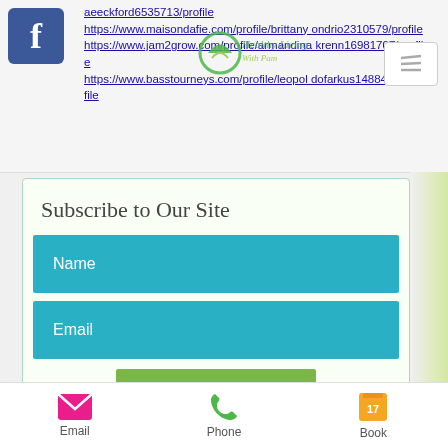[Figure (logo): Facebook logo icon - blue square with white F]
aeeckford6535713/profile
https://www.maisondafie.com/profile/brittanyondrio2310579/profile
https://www.jam2grow.com/profile/armandinakrenn16981707/profile
https://www.basstourneys.com/profile/leopoldofarkus14884577/profile
Subscribe to Our Site
Name
Email
Subscribe
Email
Phone
Book